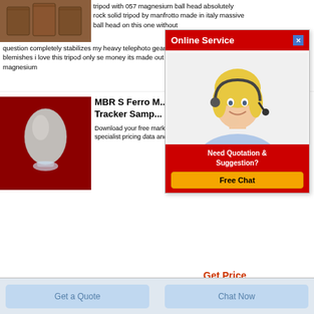[Figure (photo): Three brown/wooden block-shaped objects]
tripod with 057 magnesium ball head absolutely rock solid tripod by manfrotto made in italy massive ball head on this one without question completely stabilizes my heavy telephoto gear few minor cosmetic blemishes i love this tripod only se money its made out of carbon fiber and magnesium
[Figure (photo): Gray powder in an egg-shaped mound on a glass base, on a red background — MBR S Ferro product]
MBR S Ferro M... Tracker Samp... Download your free market tracker ferro provides specialist pricing data and ac
[Figure (photo): Online Service popup with female agent wearing headset, red header saying Online Service, close button, Need Quotation & Suggestion section with Free Chat button]
Get Price
Get a Quote
Chat Now